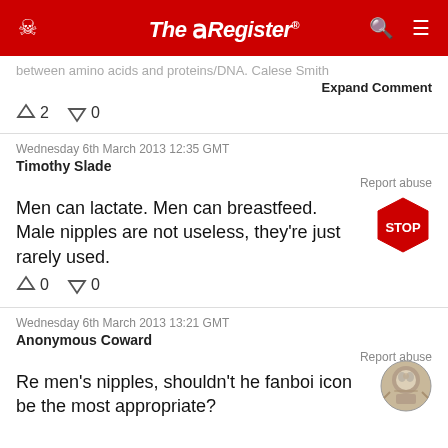The Register
between amino acids and proteins/DNA. Calese Smith
Expand Comment
↑2  ↓0
Wednesday 6th March 2013 12:35 GMT
Timothy Slade
Report abuse
Men can lactate. Men can breastfeed. Male nipples are not useless, they're just rarely used.
↑0  ↓0
Wednesday 6th March 2013 13:21 GMT
Anonymous Coward
Report abuse
Re men's nipples, shouldn't he fanboi icon be the most appropriate?